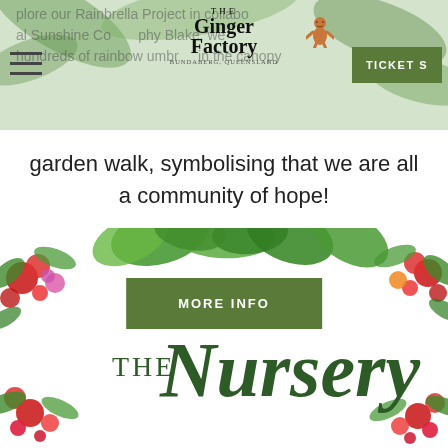[Figure (logo): The Ginger Factory logo with gingerbread man character and tagline]
[Figure (screenshot): TICKETS button - green rectangle with white text]
plore our Rainbrella Project in collabo al Sunshine Co phy Blake, we hundreds of rainbow umbr in the canopy
garden walk, symbolising that we are all a community of hope!
[Figure (screenshot): MORE INFO button - green rectangle with white bold text]
[Figure (illustration): The Nursery - tropical floral banner with red and pink flowers, green tropical leaves surrounding white center with 'THE Nursery' text in dark green]